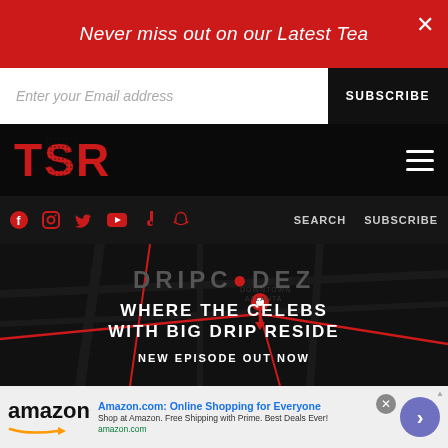Never miss out on our Latest Tea
Enter your Email address | SUBSCRIBE
[Figure (logo): TSR (The Shade Room) logo in red on black background with hamburger menu]
[Figure (screenshot): Social media icons (Facebook, Instagram, Twitter, YouTube, TikTok, Snapchat) in red, with SEARCH and SUBSCRIBE links]
[Figure (illustration): DRIPCOD EZ show graphic on dark map background with text: WHERE THE CELEBS WITH BIG DRIP RESIDE, NEW EPISODE OUT NOW]
[Figure (infographic): Amazon advertisement: Amazon.com: Online Shopping for Everyone. Shop at Amazon. Free Shipping with Prime. Best Deals Ever! amazon.com]